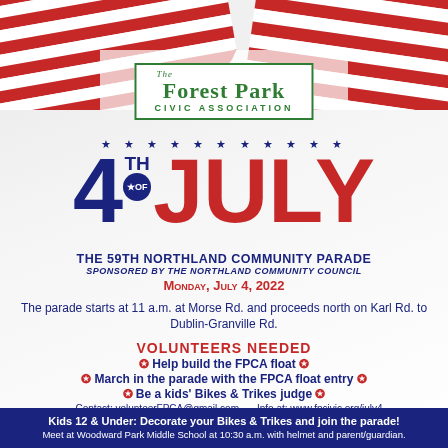[Figure (illustration): American flag ribbon/banner draping across the top of the page in red, white, and blue stripes]
The Forest Park Civic Association
[Figure (infographic): 4th of July graphic with large blue numeral 4, TH OF star emblem, and JULY in large red letters, with blue stars row above]
THE 59TH NORTHLAND COMMUNITY PARADE
SPONSORED BY THE NORTHLAND COMMUNITY COUNCIL
Monday, July 4, 2022
The parade starts at 11 a.m. at Morse Rd. and proceeds north on Karl Rd. to Dublin-Granville Rd.
VOLUNTEERS NEEDED
Help build the FPCA float
March in the parade with the FPCA float entry
Be a kids' Bikes & Trikes judge
Contact: volunteerFPCA@gmail.com    Info at: www.fpcivic.org/july4
Kids 12 & Under: Decorate your Bikes & Trikes and join the parade! Meet at Woodward Park Middle School at 10:30 a.m. with helmet and parent/guardian.